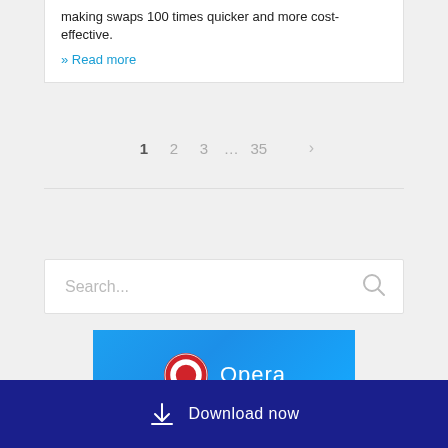making swaps 100 times quicker and more cost-effective.
» Read more
1  2  3  …  35  >
[Figure (other): Search input box with placeholder text 'Search...' and a search icon on the right]
[Figure (logo): Opera browser logo on a blue gradient background, showing the red Opera 'O' icon and the word 'Opera' in white text]
Download now